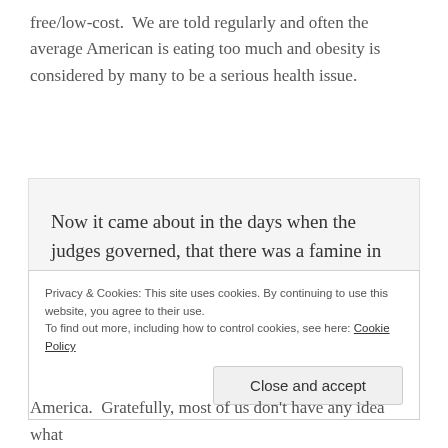free/low-cost. We are told regularly and often the average American is eating too much and obesity is considered by many to be a serious health issue.
Now it came about in the days when the judges governed, that there was a famine in the land. Ruth 1:1
Privacy & Cookies: This site uses cookies. By continuing to use this website, you agree to their use.
To find out more, including how to control cookies, see here: Cookie Policy
Close and accept
America. Gratefully, most of us don't have any idea what